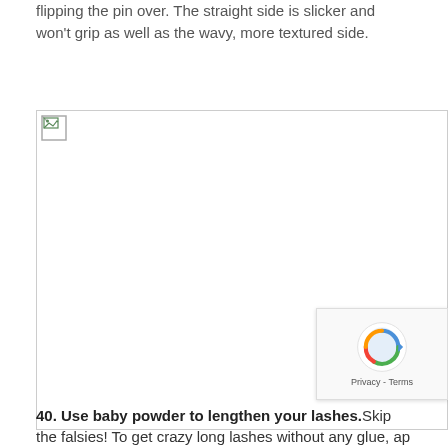flipping the pin over. The straight side is slicker and won't grip as well as the wavy, more textured side.
[Figure (photo): Image placeholder with broken image icon, appears to be a photo related to the hair pin tip]
40. Use baby powder to lengthen your lashes. Skip the falsies! To get crazy long lashes without any glue, ap... coat of mascara first on... The... Opt for a double...